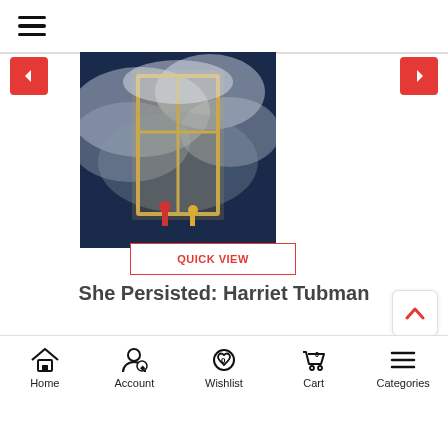[Figure (screenshot): Mobile e-commerce app screenshot showing a book product page for 'She Persisted: Harriet Tubman' by Alexandra Boiger with price Rs.747 (original Rs.1,185), a Quick View button, and bottom navigation bar with Home, Account, Wishlist, Cart, Categories.]